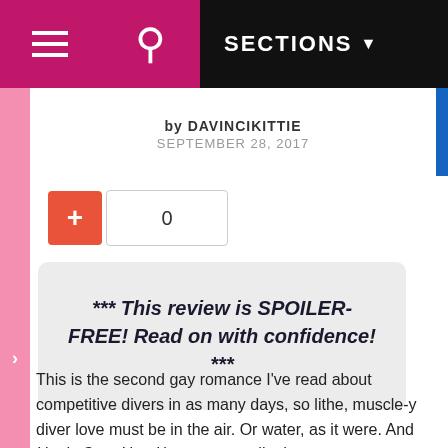SECTIONS
by DAVINCIKITTIE
SEPTEMBER 28, 2017
*** This review is SPOILER-FREE! Read on with confidence! ***
This is the second gay romance I've read about competitive divers in as many days, so lithe, muscle-y diver love must be in the air. Or water, as it were. And Heels Over Head is unexpectedly deep.